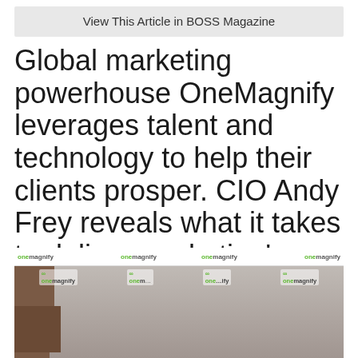View This Article in BOSS Magazine
Global marketing powerhouse OneMagnify leverages talent and technology to help their clients prosper. CIO Andy Frey reveals what it takes to deliver marketing's many promises in the digital age.
[Figure (photo): Group photo of three women standing in front of a OneMagnify branded backdrop/step-and-repeat banner with OneMagnify logos repeated across it.]